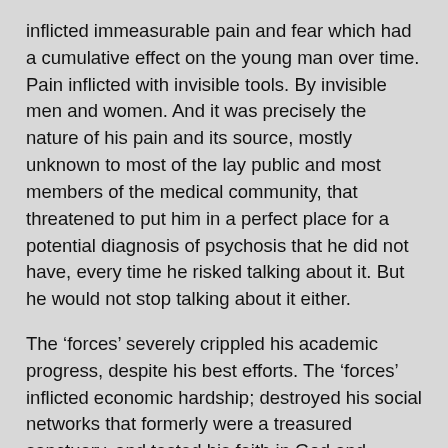inflicted immeasurable pain and fear which had a cumulative effect on the young man over time. Pain inflicted with invisible tools. By invisible men and women. And it was precisely the nature of his pain and its source, mostly unknown to most of the lay public and most members of the medical community, that threatened to put him in a perfect place for a potential diagnosis of psychosis that he did not have, every time he risked talking about it. But he would not stop talking about it either.
The ‘forces’ severely crippled his academic progress, despite his best efforts. The ‘forces’ inflicted economic hardship; destroyed his social networks that formerly were a treasured sanctuary, and tested his faith in God and humanity. The ‘forces’ had deliberately chosen to destroy the person known as Edmund Igberaese.
At first, Edmund did not quite comprehend the nature of the tragic events happening in his life and around him, all or most of which he documented in